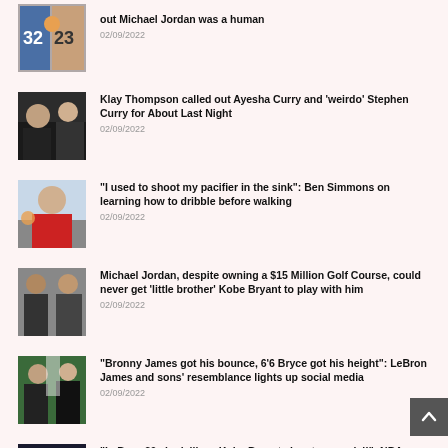[Figure (photo): Basketball players on court — partial view at top of page]
out Michael Jordan was a human
02/09/2022
[Figure (photo): Basketball event photo — Klay Thompson article]
Klay Thompson called out Ayesha Curry and 'weirdo' Stephen Curry for About Last Night
02/09/2022
[Figure (photo): Basketball player with ball — Ben Simmons article]
"I used to shoot my pacifier in the sink": Ben Simmons on learning how to dribble before walking
02/09/2022
[Figure (photo): Two men in suits — Michael Jordan and Kobe Bryant article]
Michael Jordan, despite owning a $15 Million Golf Course, could never get 'little brother' Kobe Bryant to play with him
02/09/2022
[Figure (photo): Basketball players with referee — LeBron James sons article]
"Bronny James got his bounce, 6'6 Bryce got his height": LeBron James and sons' resemblance lights up social media
02/09/2022
[Figure (photo): Basketball player with shoes — LeBron 20s article]
"LeBron 20s look like a Kobe Bryant signature model!": NBA Twitter adores Lakers star's latest